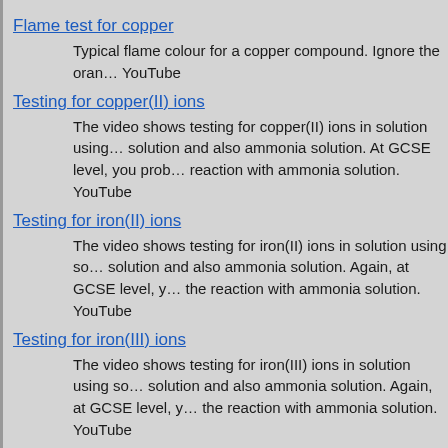Flame test for copper
Typical flame colour for a copper compound. Ignore the oran… YouTube
Testing for copper(II) ions
The video shows testing for copper(II) ions in solution using… solution and also ammonia solution. At GCSE level, you prob… reaction with ammonia solution. YouTube
Testing for iron(II) ions
The video shows testing for iron(II) ions in solution using so… solution and also ammonia solution. Again, at GCSE level, y… the reaction with ammonia solution. YouTube
Testing for iron(III) ions
The video shows testing for iron(III) ions in solution using so… solution and also ammonia solution. Again, at GCSE level, y… the reaction with ammonia solution. YouTube
Testing for ammonium ions
The video shows testing for ammonium ions in solution…